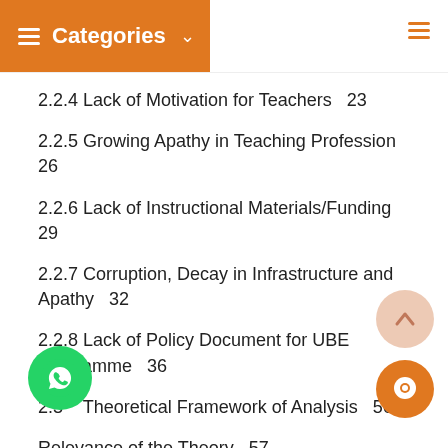Categories
2.2.4 Lack of Motivation for Teachers  23
2.2.5 Growing Apathy in Teaching Profession  26
2.2.6 Lack of Instructional Materials/Funding  29
2.2.7 Corruption, Decay in Infrastructure and Apathy  32
2.2.8 Lack of Policy Document for UBE Programme  36
2.3   Theoretical Framework of Analysis  56
Relevance of the Theory  57